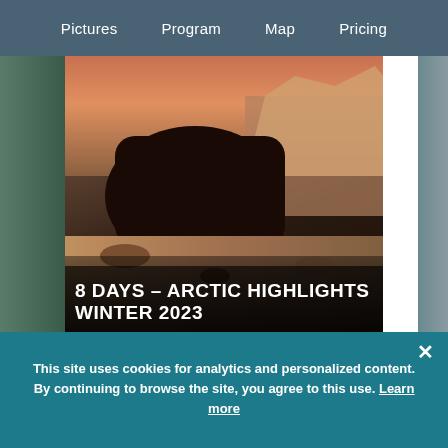Pictures   Program   Map   Pricing
[Figure (photo): Arctic landscape photo showing rocky terrain with an animal (possibly a musk ox or sled dog) in the foreground, with colorful arctic scenery. Overlay text: 8 DAYS – ARCTIC HIGHLIGHTS WINTER 2023]
8 DAYS – ARCTIC HIGHLIGHTS WINTER 2023
Read more
On this trip, we have chosen the highlights from our different winter trips in Greenland and put them together to…
This site uses cookies for analytics and personalized content. By continuing to browse the site, you agree to this use. Learn more